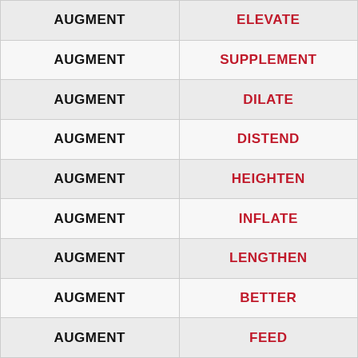| Word | Synonym |
| --- | --- |
| AUGMENT | ELEVATE |
| AUGMENT | SUPPLEMENT |
| AUGMENT | DILATE |
| AUGMENT | DISTEND |
| AUGMENT | HEIGHTEN |
| AUGMENT | INFLATE |
| AUGMENT | LENGTHEN |
| AUGMENT | BETTER |
| AUGMENT | FEED |